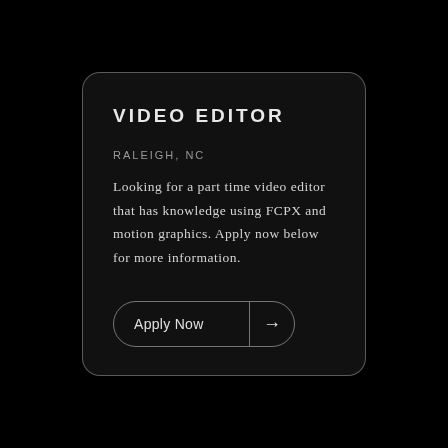VIDEO EDITOR
RALEIGH, NC
Looking for a part time video editor that has knowledge using FCPX and motion graphics. Apply now below for more information.
Apply Now →